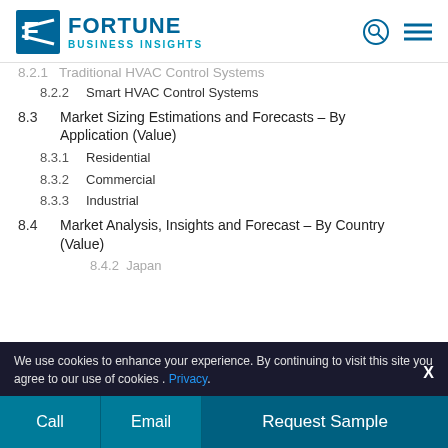FORTUNE BUSINESS INSIGHTS
8.2.1  Traditional HVAC Control Systems
8.2.2  Smart HVAC Control Systems
8.3  Market Sizing Estimations and Forecasts – By Application (Value)
8.3.1  Residential
8.3.2  Commercial
8.3.3  Industrial
8.4  Market Analysis, Insights and Forecast – By Country (Value)
8.4.2  Japan
We use cookies to enhance your experience. By continuing to visit this site you agree to our use of cookies . Privacy.
Call  Email  Request Sample